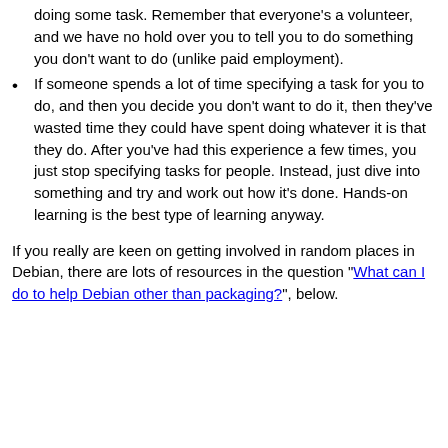doing some task. Remember that everyone's a volunteer, and we have no hold over you to tell you to do something you don't want to do (unlike paid employment).
If someone spends a lot of time specifying a task for you to do, and then you decide you don't want to do it, then they've wasted time they could have spent doing whatever it is that they do. After you've had this experience a few times, you just stop specifying tasks for people. Instead, just dive into something and try and work out how it's done. Hands-on learning is the best type of learning anyway.
If you really are keen on getting involved in random places in Debian, there are lots of resources in the question "What can I do to help Debian other than packaging?", below.